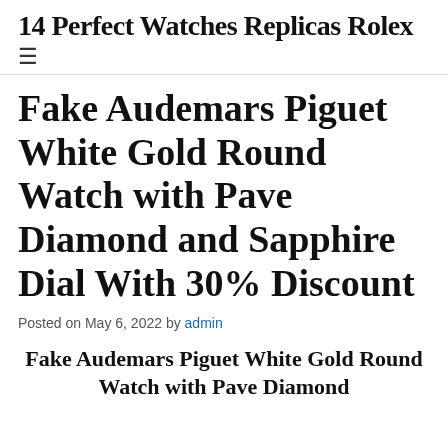14 Perfect Watches Replicas Rolex
Fake Audemars Piguet White Gold Round Watch with Pave Diamond and Sapphire Dial With 30% Discount
Posted on May 6, 2022 by admin
Fake Audemars Piguet White Gold Round Watch with Pave Diamond